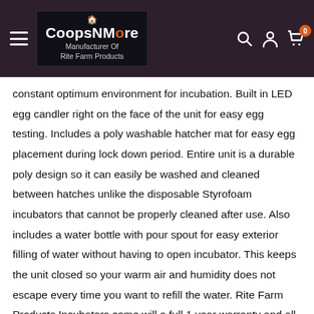CoopsNMore - Manufacturer Of Rite Farm Products
constant optimum environment for incubation. Built in LED egg candler right on the face of the unit for easy egg testing. Includes a poly washable hatcher mat for easy egg placement during lock down period. Entire unit is a durable poly design so it can easily be washed and cleaned between hatches unlike the disposable Styrofoam incubators that cannot be properly cleaned after use. Also includes a water bottle with pour spout for easy exterior filling of water without having to open incubator. This keeps the unit closed so your warm air and humidity does not escape every time you want to refill the water. Rite Farm Products Incubators come will a full 1 year warranty and all parts are available and stocked should you ever need them. Standard US 110 volt plug in, and uses only 50 watts. Holds approximately 120 large chicken eggs, 90 Duck, Goose, or Turkey Eggs, or 225 quail eggs with optional quail egg rollers sold separately. Approximate outside dimensions: 19.25" x